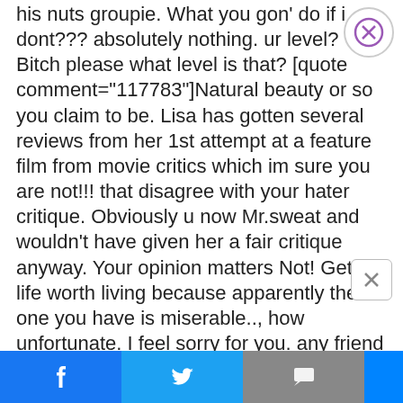his nuts groupie. What you gon' do if i dont??? absolutely nothing. ur level? Bitch please what level is that? [quote comment="117783"]Natural beauty or so you claim to be. Lisa has gotten several reviews from her 1st attempt at a feature film from movie critics which im sure you are not!!! that disagree with your hater critique. Obviously u now Mr.sweat and wouldn't have given her a fair critique anyway. Your opinion matters Not! Get a life worth living because apparently the one you have is miserable.., how unfortunate. I feel sorry for you. any friend of mr. sweat's always gets the bad end of the stick, your deeds will never be
[Figure (other): Social media share bar with Facebook, Twitter, comments, Messenger, more buttons and NEXT ARTICLE link]